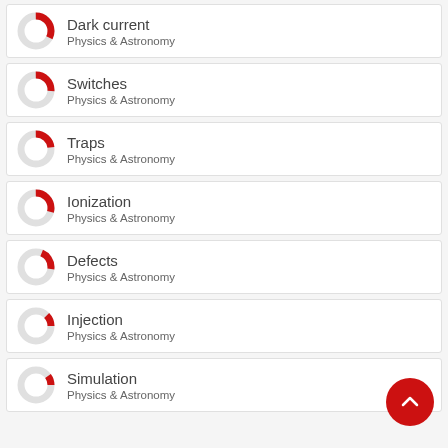Dark current — Physics & Astronomy
Switches — Physics & Astronomy
Traps — Physics & Astronomy
Ionization — Physics & Astronomy
Defects — Physics & Astronomy
Injection — Physics & Astronomy
Simulation — Physics & Astronomy